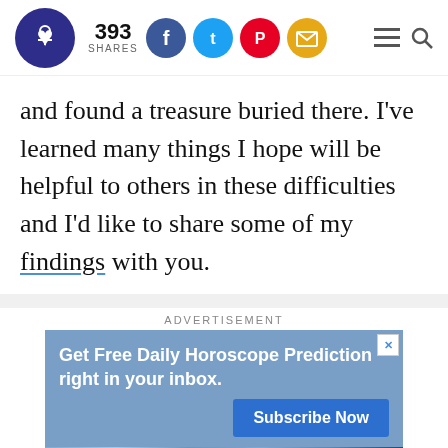393 SHARES
and found a treasure buried there. I've learned many things I hope will be helpful to others in these difficulties and I'd like to share some of my findings with you.
[Figure (screenshot): Advertisement banner: Get Free Daily Horoscope Prediction right in your inbox. Subscribe Now button, with an image of an ornate clock/zodiac at the bottom.]